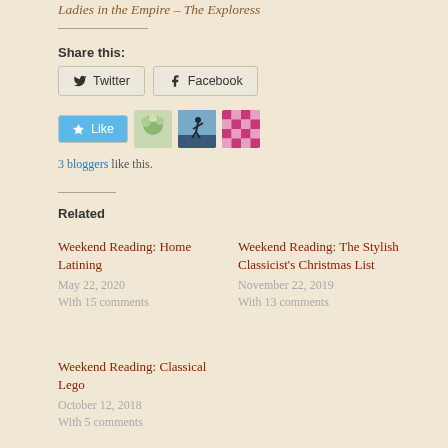Ladies in the Empire – The Exploress
Share this:
Twitter   Facebook
[Figure (infographic): Like button with star icon in blue, followed by three blogger avatar thumbnails]
3 bloggers like this.
Related
Weekend Reading: Home Latining
May 22, 2020
With 15 comments
Weekend Reading: The Stylish Classicist's Christmas List
November 22, 2019
With 13 comments
Weekend Reading: Classical Lego
October 12, 2018
With 5 comments